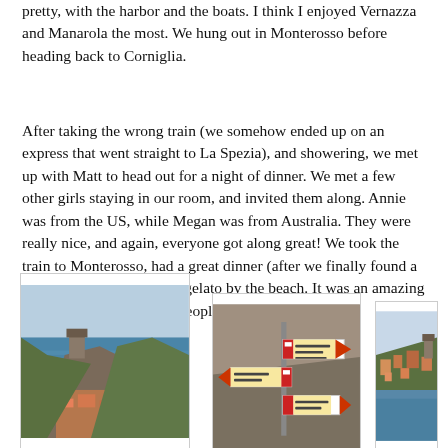pretty, with the harbor and the boats. I think I enjoyed Vernazza and Manarola the most. We hung out in Monterosso before heading back to Corniglia.
After taking the wrong train (we somehow ended up on an express that went straight to La Spezia), and showering, we met up with Matt to head out for a night of dinner. We met a few other girls staying in our room, and invited them along. Annie was from the US, while Megan was from Australia. They were really nice, and again, everyone got along great! We took the train to Monterosso, had a great dinner (after we finally found a place to eat), and then ate gelato by the beach. It was an amazing evening with some great people.
[Figure (photo): Coastal cliff town (likely Vernazza, Cinque Terre) with rocky promontory, turquoise sea, and colorful buildings]
[Figure (photo): Trail signpost on rocky surface in Cinque Terre showing directions including Corniglia, Vernazza with red and white arrows]
[Figure (photo): Partially visible coastal town view, buildings on hillside]